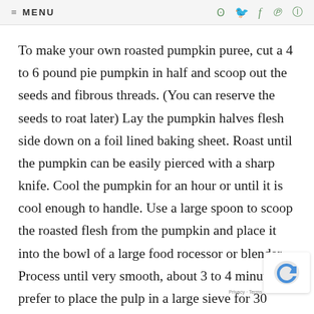≡ MENU
To make your own roasted pumpkin puree, cut a 4 to 6 pound pie pumpkin in half and scoop out the seeds and fibrous threads. (You can reserve the seeds to roat later) Lay the pumpkin halves flesh side down on a foil lined baking sheet. Roast until the pumpkin can be easily pierced with a sharp knife. Cool the pumpkin for an hour or until it is cool enough to handle. Use a large spoon to scoop the roasted flesh from the pumpkin and place it into the bowl of a large food rocessor or blender. Process until very smooth, about 3 to 4 minutes. I prefer to place the pulp in a large sieve for 30 minutes to remove exce liquid, especially if I plan to use the pulp for baking